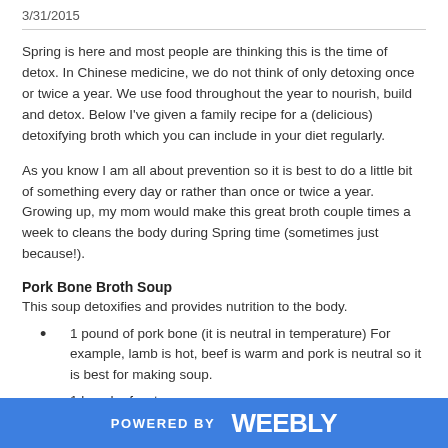3/31/2015
Spring is here and most people are thinking this is the time of detox.  In Chinese medicine, we do not think of only detoxing once or twice a year.  We use food throughout the year to nourish, build and detox. Below I've given a family recipe for a (delicious) detoxifying broth which you can include in your diet regularly.
As you know I am all about prevention so it is best to do a little bit of something every day or rather than once or twice a year.  Growing up, my mom would make this great broth couple times a week to cleans the body during Spring time (sometimes just because!).
Pork Bone Broth Soup
This soup detoxifies and provides nutrition to the body.
1 pound of pork bone (it is neutral in temperature)  For example, lamb is hot, beef is warm and pork is neutral so it is best for making soup.
1 bunch of watercress
POWERED BY weebly